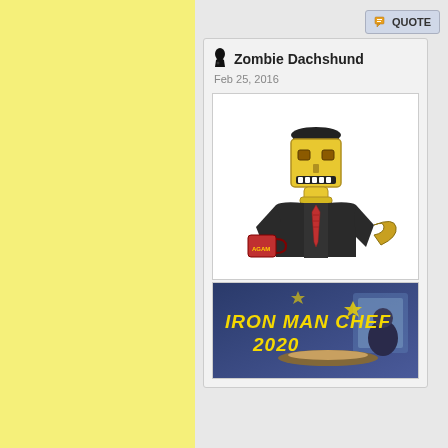[Figure (screenshot): Yellow textured sidebar background]
QUOTE
Zombie Dachshund
Feb 25, 2016
[Figure (illustration): Illustration of a robot/tin man character in a suit holding a coffee mug and a wrench]
[Figure (illustration): Animated image with text IRON MAN CHEF 2020 showing a character holding a tray of food]